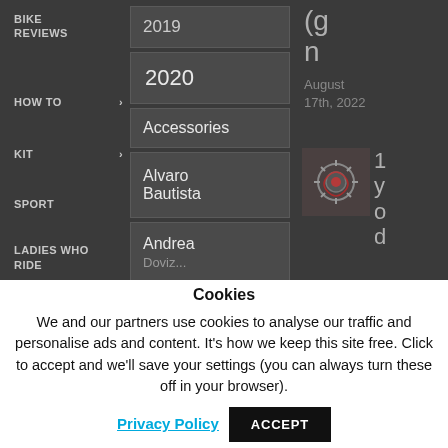BIKE REVIEWS
HOW TO >
KIT >
SPORT
LADIES WHO RIDE
2019
2020
Accessories
Alvaro Bautista
Andrea
(g n
August 17th, 2022
[Figure (photo): Small thumbnail image showing motorcycle gear/chain detail in red and silver tones]
1 y o d
Cookies
We and our partners use cookies to analyse our traffic and personalise ads and content. It's how we keep this site free. Click to accept and we'll save your settings (you can always turn these off in your browser).
Privacy Policy
ACCEPT